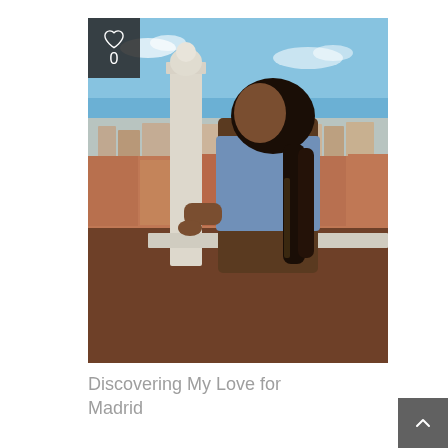[Figure (photo): A young Black woman with long box braids wearing a denim jacket stands at a rooftop balustrade with a white obelisk-shaped finial, overlooking the Madrid cityscape with terracotta rooftops under a blue sky with scattered clouds.]
Discovering My Love for Madrid